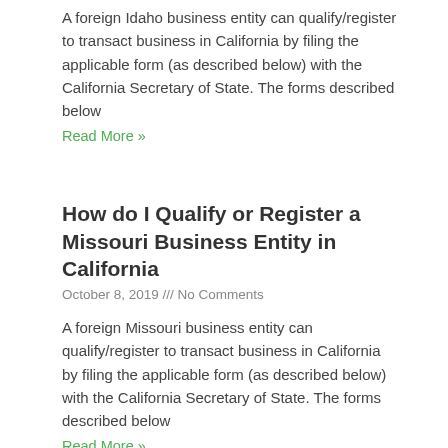A foreign Idaho business entity can qualify/register to transact business in California by filing the applicable form (as described below) with the California Secretary of State. The forms described below
Read More »
How do I Qualify or Register a Missouri Business Entity in California
October 8, 2019 /// No Comments
A foreign Missouri business entity can qualify/register to transact business in California by filing the applicable form (as described below) with the California Secretary of State. The forms described below
Read More »
How do I Qualify or Register a Colorado Business Entity in California
September 29, 2019 /// No Comments
A foreign Colorado business entity can qualify/register to